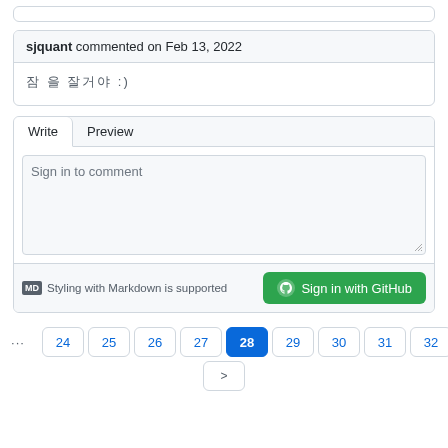sjquant commented on Feb 13, 2022
공백 문자들 :)
Write | Preview
Sign in to comment
MD Styling with Markdown is supported
Sign in with GitHub
< 1 ... 24 25 26 27 28 29 30 31 32 ... 504 >